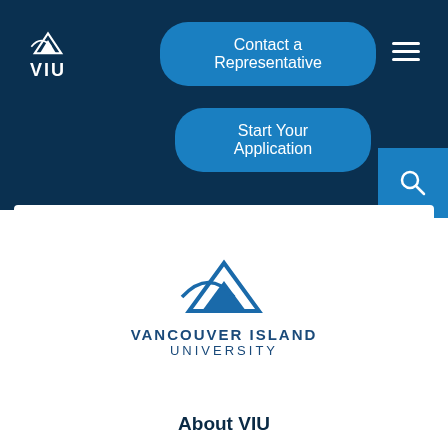[Figure (logo): VIU small white logo with eagle/fish icon and VIU text in top-left navigation area]
Contact a Representative
Start Your Application
[Figure (logo): Vancouver Island University full logo with blue eagle/fish icon and bold text VANCOUVER ISLAND UNIVERSITY]
About VIU
Careers at VIU
Parking